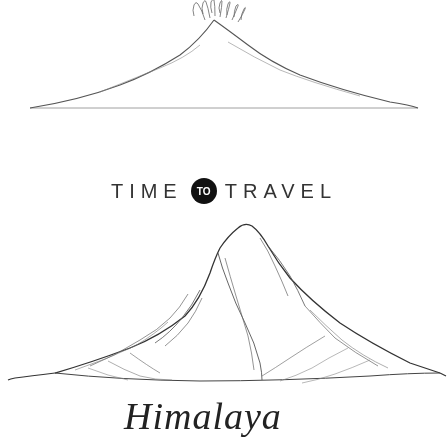[Figure (illustration): Line drawing of a mountain top (volcano-like peak with wispy lines at summit) in minimal single-line art style, positioned at the top of the page]
TIME TO TRAVEL
[Figure (illustration): Line drawing of the Himalayan mountain range with two prominent peaks and detailed ridge lines in single-line art style]
Himalaya